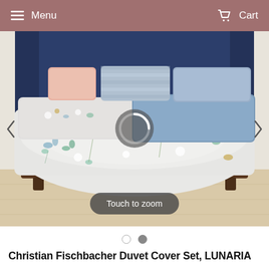Menu   Cart
[Figure (photo): A bed with a white/light grey floral patterned duvet cover (Christian Fischbacher LUNARIA design) with blue, teal, gold and white flowers. Multiple decorative pillows including pink, blue striped, and solid blue pillows. Dark navy blue upholstered headboard. Light wood floor. A circular loading/spinner icon overlay is visible at center, with left and right navigation arrows on the sides.]
Touch to zoom
Christian Fischbacher Duvet Cover Set, LUNARIA